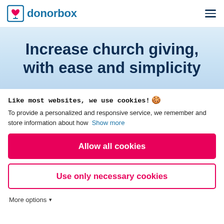[Figure (logo): Donorbox logo with blue box icon containing a red heart, and blue text 'donorbox']
Increase church giving, with ease and simplicity
Like most websites, we use cookies! 🍪
To provide a personalized and responsive service, we remember and store information about how  Show more
Allow all cookies
Use only necessary cookies
More options ▾